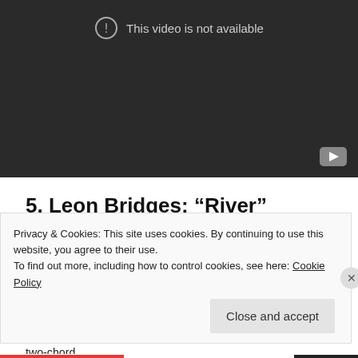[Figure (screenshot): YouTube video embed showing 'This video is not available' error message with exclamation icon and YouTube logo button in bottom right, dark background.]
5. Leon Bridges: “River”
I’ve already extolled the virtues of Leon Bridges and his 1960s soul revival. He borrows heavily from Otis Redding and Sam Cooke, but he does it so expertly that Coming Home, his debut album released this month, is a welcome addition to the classic soul canon. “River” is the slow and powerful closer to the album. It relies on nothing more than a two-chord
Privacy & Cookies: This site uses cookies. By continuing to use this website, you agree to their use.
To find out more, including how to control cookies, see here: Cookie Policy
Close and accept